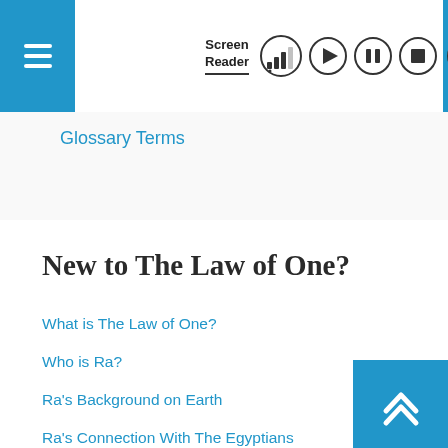Screen Reader
Glossary Terms
New to The Law of One?
What is The Law of One?
Who is Ra?
Ra's Background on Earth
Ra's Connection With The Egyptians
Why Ra Visited Egypt and When?